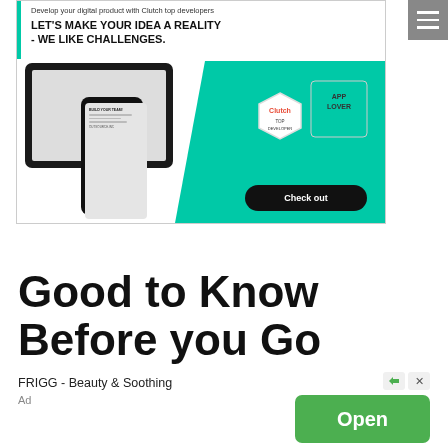[Figure (screenshot): Advertisement banner showing digital product development company. Text reads 'Develop your digital product with Clutch top developers' and 'LET'S MAKE YOUR IDEA A REALITY - WE LIKE CHALLENGES.' Shows tablet and phone devices with teal background, Clutch and AppLover badges, and a 'Check out' button.]
Good to Know Before you Go
[Figure (screenshot): Bottom advertisement for FRIGG - Beauty & Soothing with a green 'Open' button and ad disclosure label.]